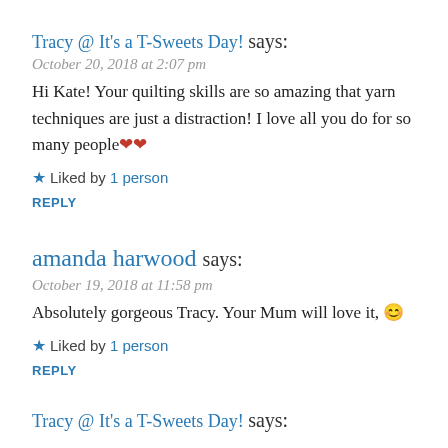Tracy @ It's a T-Sweets Day! says:
October 20, 2018 at 2:07 pm
Hi Kate! Your quilting skills are so amazing that yarn techniques are just a distraction! I love all you do for so many people❤️❤️
★ Liked by 1 person
REPLY
amanda harwood says:
October 19, 2018 at 11:58 pm
Absolutely gorgeous Tracy. Your Mum will love it, 😊
★ Liked by 1 person
REPLY
Tracy @ It's a T-Sweets Day! says: